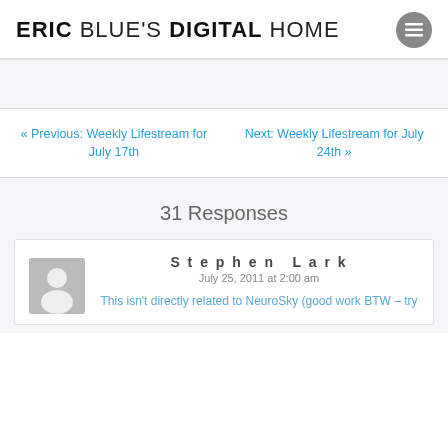ERIC BLUE'S DIGITAL HOME
« Previous: Weekly Lifestream for July 17th
Next: Weekly Lifestream for July 24th »
31 Responses
Stephen Lark
July 25, 2011 at 2:00 am
This isn't directly related to NeuroSky (good work BTW – try